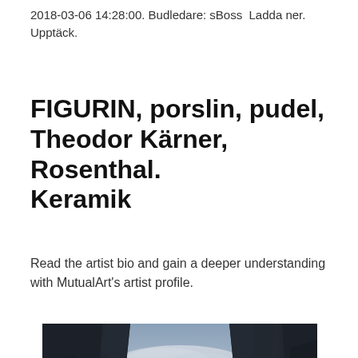2018-03-06 14:28:00. Budledare: sBoss  Ladda ner. Upptäck.
FIGURIN, porslin, pudel, Theodor Kärner, Rosenthal. Keramik
Read the artist bio and gain a deeper understanding with MutualArt's artist profile.
[Figure (photo): Dramatic landscape photograph showing two tall dark rocky cliffs on either side with a cloudy sky between them, bluish-grey tones.]